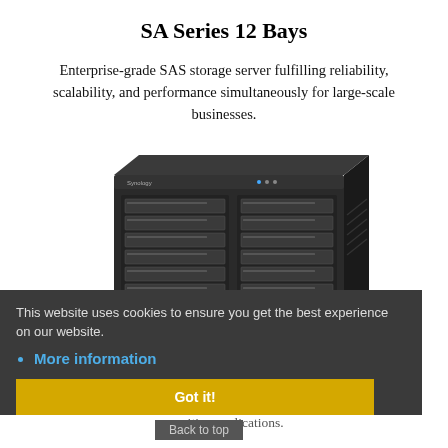SA Series 12 Bays
Enterprise-grade SAS storage server fulfilling reliability, scalability, and performance simultaneously for large-scale businesses.
[Figure (photo): Synology SA Series 12-bay SAS storage server, dark chassis with drive bays visible on front panel]
This website uses cookies to ensure you get the best experience on our website.
More information
Got It!
FS Series 12 Bays
Lightning-fast, all-flash server designed for IO-intensive and latency-sensitive applications.
Back to top